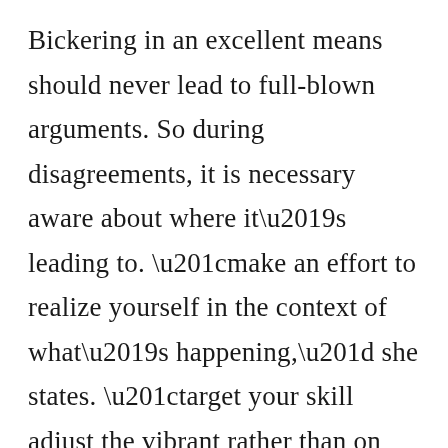Bickering in an excellent means should never lead to full-blown arguments. So during disagreements, it is necessary aware about where it’s leading to. “make an effort to realize yourself in the context of what’s happening,” she states. “target your skill adjust the vibrant rather than on which you might think your partner should be doing.” As much as possible do that, your commitment may benefit as a result over time.